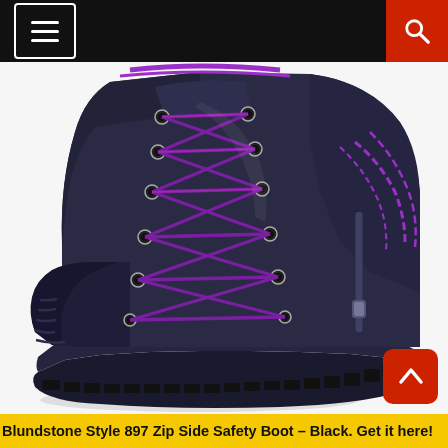[Figure (screenshot): Website navigation bar with hamburger menu icon on the left and red search button on the right, on a black background]
[Figure (photo): Close-up photo of a Blundstone Style 897 Zip Side Safety Boot in black with purple laces and purple stitching accents, featuring a steel toe cap and chunky rubber sole, photographed against a white/light grey background]
Blundstone Style 897 Zip Side Safety Boot – Black. Get it here!